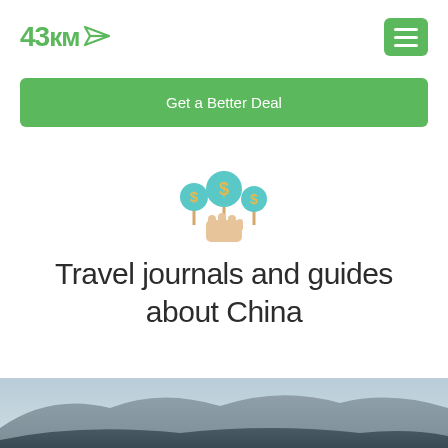43km
Get a Better Deal
[Figure (illustration): Icon of a hand holding up three coin-lollipops with dollar signs, in teal and gold colors]
Travel journals and guides about China
[Figure (photo): Landscape photo of mountains and sky, partially visible at bottom of page]